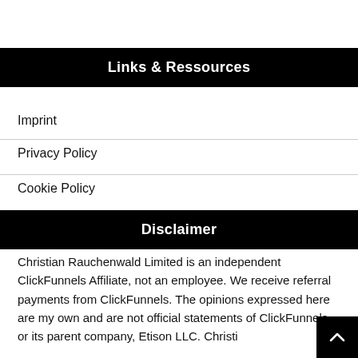Links & Ressources
Imprint
Privacy Policy
Cookie Policy
Disclaimer
Christian Rauchenwald Limited is an independent ClickFunnels Affiliate, not an employee. We receive referral payments from ClickFunnels. The opinions expressed here are my own and are not official statements of ClickFunnels or its parent company, Etison LLC. Christi